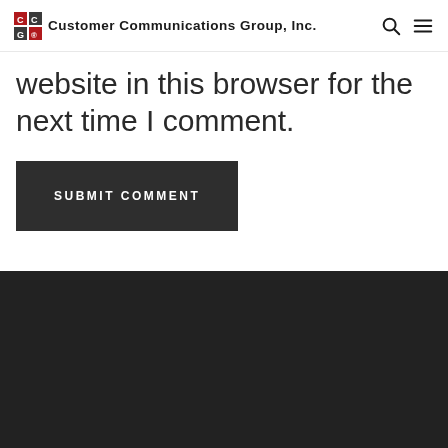Customer Communications Group, Inc.
website in this browser for the next time I comment.
SUBMIT COMMENT